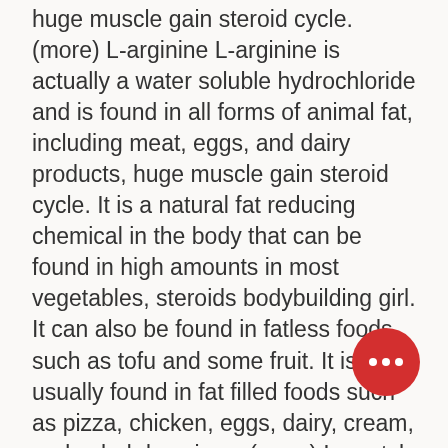huge muscle gain steroid cycle. (more) L-arginine L-arginine is actually a water soluble hydrochloride and is found in all forms of animal fat, including meat, eggs, and dairy products, huge muscle gain steroid cycle. It is a natural fat reducing chemical in the body that can be found in high amounts in most vegetables, steroids bodybuilding girl. It can also be found in fatless foods such as tofu and some fruit. It is usually found in fat filled foods such as pizza, chicken, eggs, dairy, cream, and salad dressings. (more) L-acetyl-L-cysteine (LAC) The LAC in LAC is actually not much of a substance at all, but it was discovered as just LAC by a team of chemists in 1959. Lacellini & Morandi found and studied the LAC from a fungus which lives in fat, ligandrol pct! LAC is found in a variety of things, and it is a very popular substance amongst people who eat a lot of fat, where to buy legal steroids in south africa. (more) L-choline L-choline is one of